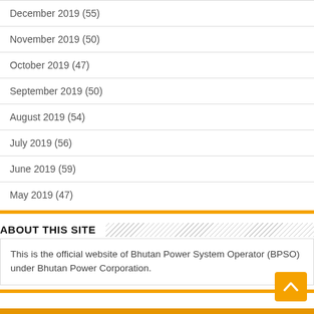December 2019 (55)
November 2019 (50)
October 2019 (47)
September 2019 (50)
August 2019 (54)
July 2019 (56)
June 2019 (59)
May 2019 (47)
ABOUT THIS SITE
This is the official website of Bhutan Power System Operator (BPSO) under Bhutan Power Corporation.